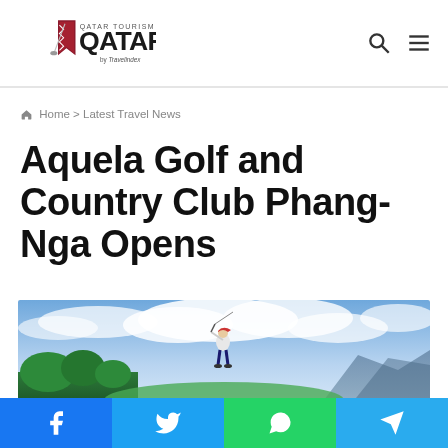Qatar Tourism by Travelindex — navigation header with search and menu icons
Home > Latest Travel News
Aquela Golf and Country Club Phang-Nga Opens
[Figure (photo): Golfer mid-swing on a lush green course with dramatic cloudy sky and mountains in background]
Social share bar: Facebook, Twitter, WhatsApp, Telegram